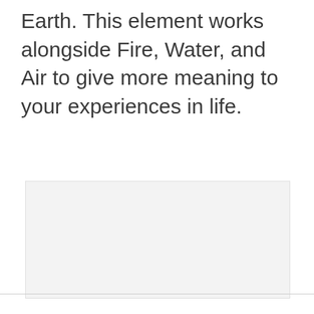Earth. This element works alongside Fire, Water, and Air to give more meaning to your experiences in life.
[Figure (other): A blank light gray rectangular image placeholder area]